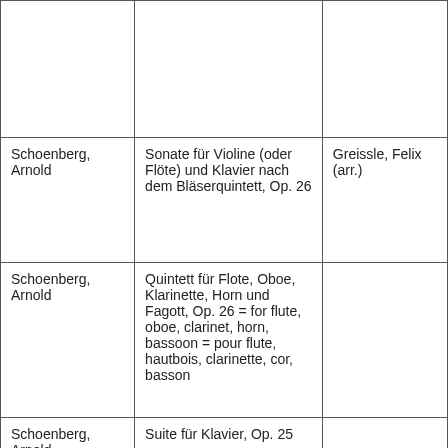|  |  |  |
| Schoenberg, Arnold | Sonate für Violine (oder Flöte) und Klavier nach dem Bläserquintett, Op. 26 | Greissle, Felix (arr.) |
| Schoenberg, Arnold | Quintett für Flote, Oboe, Klarinette, Horn und Fagott, Op. 26 = for flute, oboe, clarinet, horn, bassoon = pour flute, hautbois, clarinette, cor, basson |  |
| Schoenberg, Arnold | Suite für Klavier, Op. 25 |  |